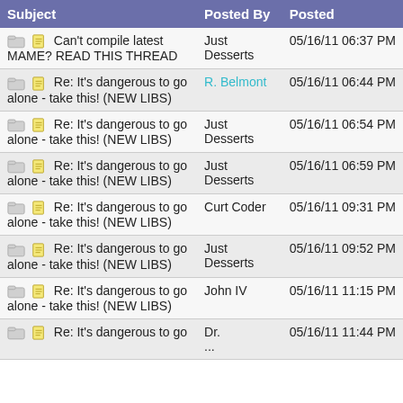| Subject | Posted By | Posted |
| --- | --- | --- |
| Can't compile latest MAME? READ THIS THREAD | Just Desserts | 05/16/11 06:37 PM |
| Re: It's dangerous to go alone - take this! (NEW LIBS) | R. Belmont | 05/16/11 06:44 PM |
| Re: It's dangerous to go alone - take this! (NEW LIBS) | Just Desserts | 05/16/11 06:54 PM |
| Re: It's dangerous to go alone - take this! (NEW LIBS) | Just Desserts | 05/16/11 06:59 PM |
| Re: It's dangerous to go alone - take this! (NEW LIBS) | Curt Coder | 05/16/11 09:31 PM |
| Re: It's dangerous to go alone - take this! (NEW LIBS) | Just Desserts | 05/16/11 09:52 PM |
| Re: It's dangerous to go alone - take this! (NEW LIBS) | John IV | 05/16/11 11:15 PM |
| Re: It's dangerous to go alone - take this! (NEW LIBS) | Dr. ... | 05/16/11 11:44 PM |